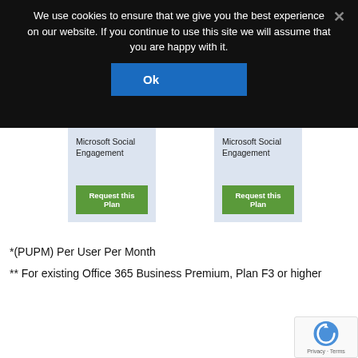We use cookies to ensure that we give you the best experience on our website. If you continue to use this site we will assume that you are happy with it.
Ok
Microsoft Social Engagement
Request this Plan
Microsoft Social Engagement
Request this Plan
*(PUPM) Per User Per Month
** For existing Office 365 Business Premium, Plan F3 or higher